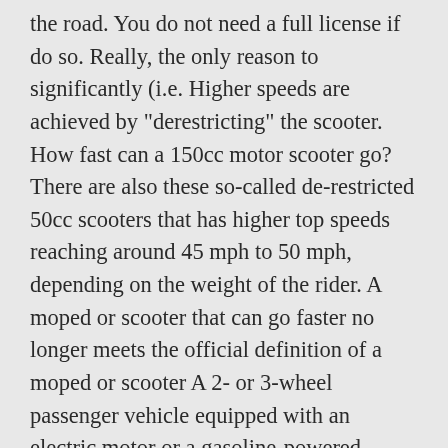the road. You do not need a full license if do so. Really, the only reason to significantly (i.e. Higher speeds are achieved by "derestricting" the scooter. How fast can a 150cc motor scooter go? There are also these so-called de-restricted 50cc scooters that has higher top speeds reaching around 45 mph to 50 mph, depending on the weight of the rider. A moped or scooter that can go faster no longer meets the official definition of a moped or scooter A 2- or 3-wheel passenger vehicle equipped with an electric motor or a gasoline-powered engine with a cylinder capacity of no more than 50 cc and an automatic transmission. Even though speed is not a factor that recommends most 50cc scooters, this does not mean that